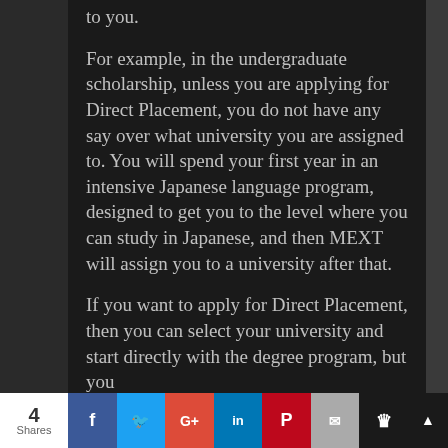to you.
For example, in the undergraduate scholarship, unless you are applying for Direct Placement, you do not have any say over what university you are assigned to. You will spend your first year in an intensive Japanese language program, designed to get you to the level where you can study in Japanese, and then MEXT will assign you to a university after that.
If you want to apply for Direct Placement, then you can select your university and start directly with the degree program, but you
4 Shares | Facebook | Twitter | Google+ | LinkedIn | Pinterest | Email | More